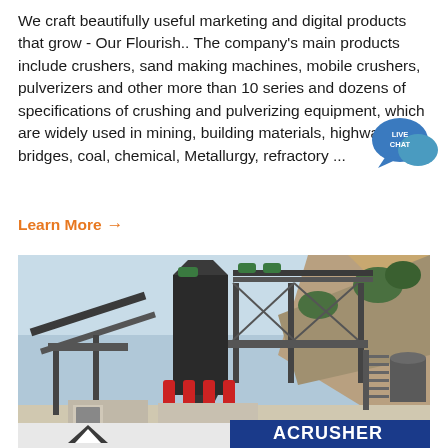We craft beautifully useful marketing and digital products that grow - Our Flourish.. The company's main products include crushers, sand making machines, mobile crushers, pulverizers and other more than 10 series and dozens of specifications of crushing and pulverizing equipment, which are widely used in mining, building materials, highways, bridges, coal, chemical, Metallurgy, refractory ...
Learn More →
[Figure (photo): Photograph of a large industrial crushing and mineral processing plant set against a rocky hillside. Steel framework structures with conveyor belts, hoppers, and red hydraulic cylinders are visible. A banner at the bottom reads 'ACRUSHER' with a triangular logo.]